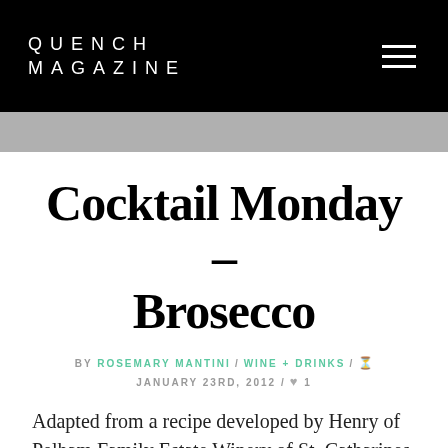QUENCH MAGAZINE
Cocktail Monday – Brosecco
BY ROSEMARY MANTINI / WINE + DRINKS / JANUARY 23RD, 2012 / ♥ 1
Adapted from a recipe developed by Henry of Pelham Family Estate Winery of St. Catharines, Ontario. The reference here, of course, is to the